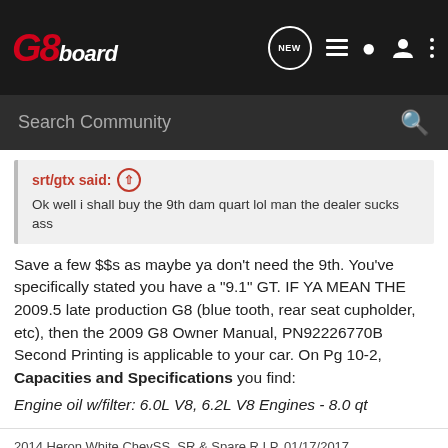G8board
Search Community
srt/gtx said: ↑
Ok well i shall buy the 9th dam quart lol man the dealer sucks ass
Save a few $$s as maybe ya don't need the 9th. You've specifically stated you have a "9.1" GT. IF YA MEAN THE 2009.5 late production G8 (blue tooth, rear seat cupholder, etc), then the 2009 G8 Owner Manual, PN92226770B Second Printing is applicable to your car. On Pg 10-2, Capacities and Specifications you find:
Engine oil w/filter: 6.0L V8, 6.2L V8 Engines - 8.0 qt
2014 Heron White ChevSS, SR & Spare R.I.P. 01/17/2017
2009 Pacific Slate Metallic G8 GXP, A6, w/LS9 SC upgrades &